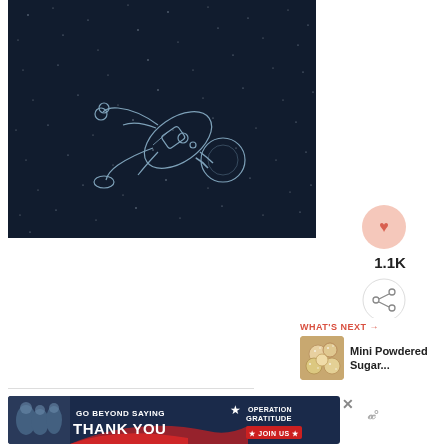[Figure (illustration): Illustration of an astronaut floating in space against a dark navy background with stars scattered throughout. The astronaut is depicted in a white outline/sketch style, tumbling diagonally.]
[Figure (infographic): Heart/like button icon (pink circular button) with count label 1.1K below, and a share button (circle with share icon).]
1.1K
[Figure (infographic): WHAT'S NEXT → thumbnail image of mini powdered sugar donut holes with title text 'Mini Powdered Sugar...']
WHAT'S NEXT →
Mini Powdered Sugar...
[Figure (infographic): Advertisement banner: GO BEYOND SAYING THANK YOU — Operation Gratitude JOIN US. Dark navy background with red/white/blue patriotic design, people shaking hands on left side.]
WWº